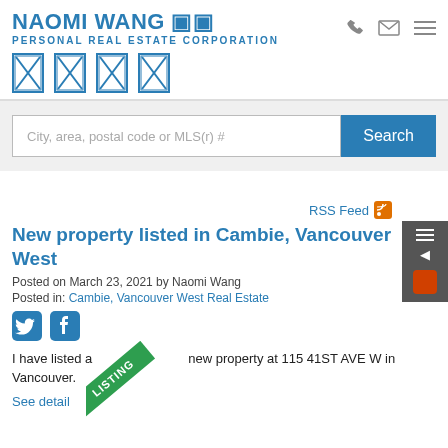NAOMI WANG 🏠🏠 PERSONAL REAL ESTATE CORPORATION
[Figure (screenshot): Search bar with placeholder text 'City, area, postal code or MLS(r) #' and a blue Search button]
RSS Feed
New property listed in Cambie, Vancouver West
Posted on March 23, 2021  by Naomi Wang
Posted in: Cambie, Vancouver West Real Estate
[Figure (other): Twitter and Facebook share icons]
I have listed a new property at 115 41ST AVE W in Vancouver.
See detail